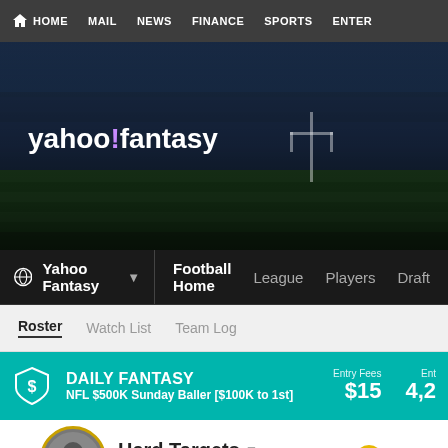HOME  MAIL  NEWS  FINANCE  SPORTS  ENTER
[Figure (screenshot): Yahoo Fantasy Football hero banner with stadium background, yahoo!fantasy logo, search bar, and Sign in button]
Yahoo Fantasy  Football Home  League  Players  Draft
Roster  Watch List  Team Log
DAILY FANTASY  NFL $500K Sunday Baller [$100K to 1st]  Entry Fees $15  Ent 4,2
Hard Targets  --hidden--  Since '06  Rating: 7